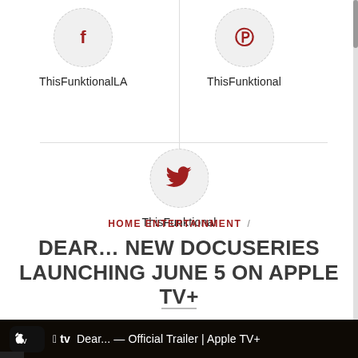[Figure (infographic): Social media icons section with Twitter/Facebook icon (circle with T) labeled ThisFunktionalLA on left, Pinterest icon labeled ThisFunktional on right, and Twitter bird icon labeled ThisFunktional centered below, separated by dashed divider lines]
HOME ENTERTAINMENT /
DEAR… NEW DOCUSERIES LAUNCHING JUNE 5 ON APPLE TV+
[Figure (screenshot): Apple TV+ video thumbnail showing Dear... Official Trailer | Apple TV+ with Apple TV logo on dark background showing a person's face]